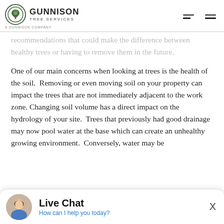Gunnison Tree Services — A Gunnison Company
recommendations that could make the difference between healthy trees or having to remove them in the future.
One of our main concerns when looking at trees is the health of the soil.  Removing or even moving soil on your property can impact the trees that are not immediately adjacent to the work zone. Changing soil volume has a direct impact on the hydrology of your site.  Trees that previously had good drainage may now pool water at the base which can create an unhealthy growing environment.  Conversely, water may be
Live Chat — How can I help you today?